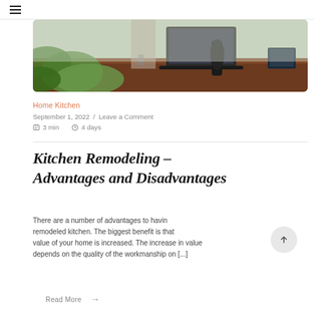☰
[Figure (photo): Photo of a person working at a desk with a laptop, green plant in foreground, wooden desk surface visible, taken from an angle.]
Home Kitchen
September 1, 2022 / Leave a Comment
🗒 3 min  ⏱ 4 days
Kitchen Remodeling – Advantages and Disadvantages
There are a number of advantages to having a remodeled kitchen. The biggest benefit is that the value of your home is increased. The increase in value depends on the quality of the workmanship on [...]
Read More →